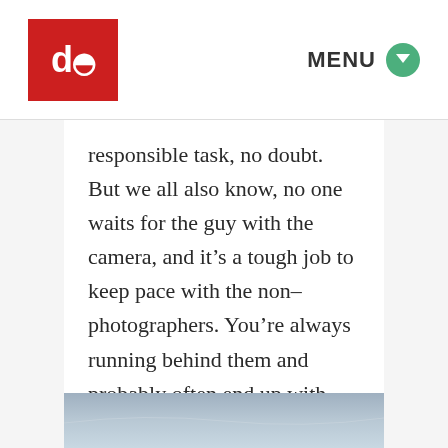db | MENU
responsible task, no doubt. But we all also know, no one waits for the guy with the camera, and it's a tough job to keep pace with the non-photographers. You're always running behind them and probably often end up with shots like this:
[Figure (photo): Partial view of a sky/landscape photo at the bottom of the page]